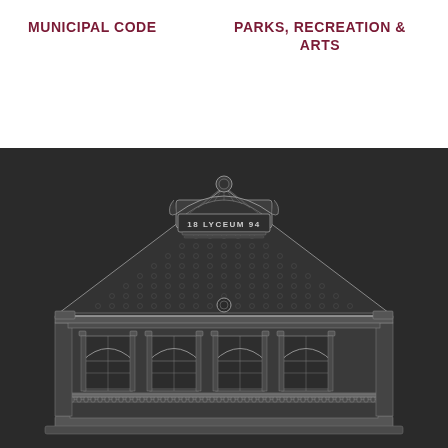MUNICIPAL CODE
PARKS, RECREATION & ARTS
[Figure (illustration): Architectural line drawing of a classic building facade (Lyceum 1894) rendered in gray lines on dark background. The building features a triangular pediment with ornamental detail, a central dome-like element with 'IS LYCEUM 94' text, four arched windows on the lower level with decorative columns, detailed roofing tiles, and an ornate balustrade along the front.]